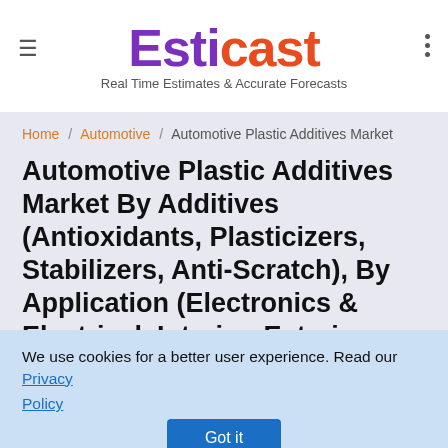[Figure (logo): Esticast logo with purple 'Esti' and orange-red 'cast' text, subtitle 'Real Time Estimates & Accurate Forecasts']
Home / Automotive / Automotive Plastic Additives Market
Automotive Plastic Additives Market By Additives (Antioxidants, Plasticizers, Stabilizers, Anti-Scratch), By Application (Electronics & Electrical, Interior, Exterior, Under the Hood), By Plastic (Acrylonitrile Butadiene Styrene (ABS), Polyurethane (PUR), Polypropylene (PP), Polyvinyl Chloride (PVC)), By Vehicle
We use cookies for a better user experience. Read our Privacy Policy
Got it